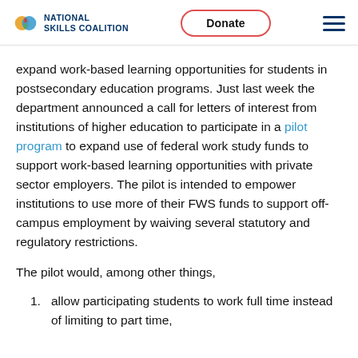NATIONAL SKILLS COALITION | Donate
expand work-based learning opportunities for students in postsecondary education programs. Just last week the department announced a call for letters of interest from institutions of higher education to participate in a pilot program to expand use of federal work study funds to support work-based learning opportunities with private sector employers. The pilot is intended to empower institutions to use more of their FWS funds to support off-campus employment by waiving several statutory and regulatory restrictions.
The pilot would, among other things,
allow participating students to work full time instead of limiting to part time,